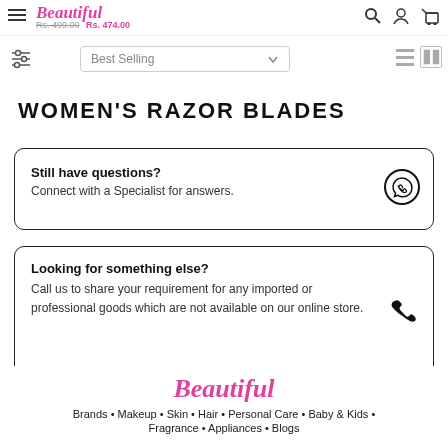Beautiful — Rs. 499.00 Rs. 474.00
WOMEN'S RAZOR BLADES
Still have questions? Connect with a Specialist for answers.
Looking for something else? Call us to share your requirement for any imported or professional goods which are not available on our online store.
Beautiful — Brands • Makeup • Skin • Hair • Personal Care • Baby & Kids • Fragrance • Appliances • Blogs